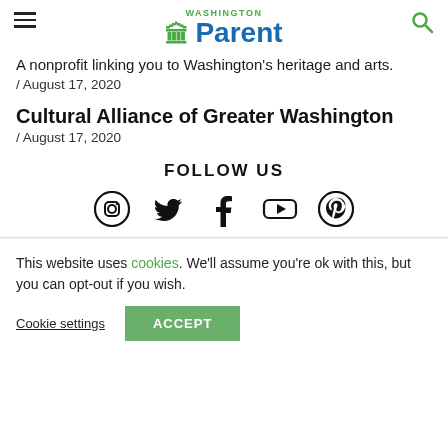Washington Parent
A nonprofit linking you to Washington's heritage and arts.
/ August 17, 2020
Cultural Alliance of Greater Washington
/ August 17, 2020
FOLLOW US
[Figure (illustration): Social media icons: Instagram, Twitter, Facebook, YouTube, Pinterest]
This website uses cookies. We'll assume you're ok with this, but you can opt-out if you wish.
Cookie settings  ACCEPT